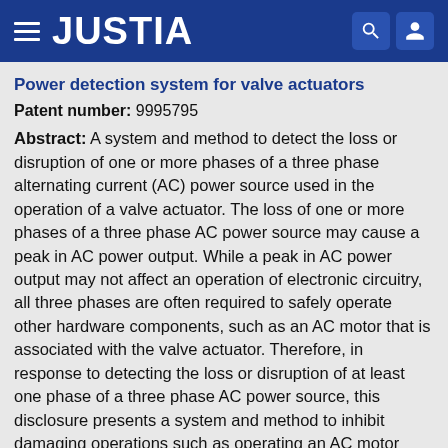JUSTIA
Power detection system for valve actuators
Patent number: 9995795
Abstract: A system and method to detect the loss or disruption of one or more phases of a three phase alternating current (AC) power source used in the operation of a valve actuator. The loss of one or more phases of a three phase AC power source may cause a peak in AC power output. While a peak in AC power output may not affect an operation of electronic circuitry, all three phases are often required to safely operate other hardware components, such as an AC motor that is associated with the valve actuator. Therefore, in response to detecting the loss or disruption of at least one phase of a three phase AC power source, this disclosure presents a system and method to inhibit damaging operations such as operating an AC motor associated with a valve actuator.